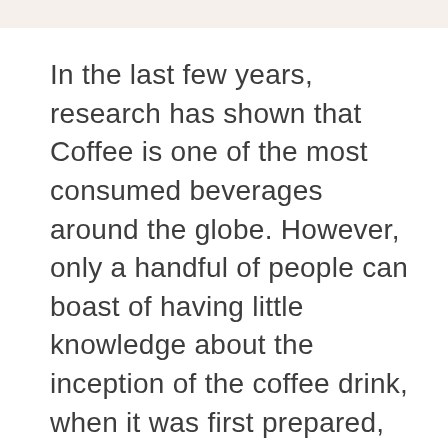In the last few years, research has shown that Coffee is one of the most consumed beverages around the globe. However, only a handful of people can boast of having little knowledge about the inception of the coffee drink, when it was first prepared, where the first coffee shop was structured or even how safe coffee is for